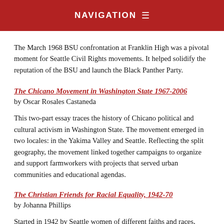NAVIGATION
The March 1968 BSU confrontation at Franklin High was a pivotal moment for Seattle Civil Rights movements. It helped solidify the reputation of the BSU and launch the Black Panther Party.
The Chicano Movement in Washington State 1967-2006
by Oscar Rosales Castaneda
This two-part essay traces the history of Chicano political and cultural activism in Washington State. The movement emerged in two locales: in the Yakima Valley and Seattle. Reflecting the split geography, the movement linked together campaigns to organize and support farmworkers with projects that served urban communities and educational agendas.
The Christian Friends for Racial Equality, 1942-70
by Johanna Phillips
Started in 1942 by Seattle women of different faiths and races,